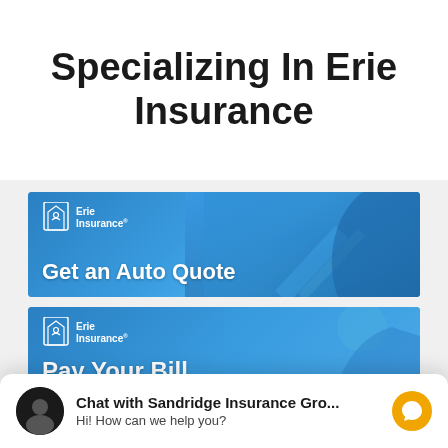Specializing In Erie Insurance
[Figure (screenshot): Erie Insurance banner with blue background showing a road/highway scene with a car. Logo at top left reads Erie Insurance. Text says 'Get an Auto Quote']
[Figure (screenshot): Erie Insurance banner with blue background showing a person. Logo at top left reads Erie Insurance. Partial text visible 'Pay Your Bill']
Chat with Sandridge Insurance Gro... Hi! How can we help you?